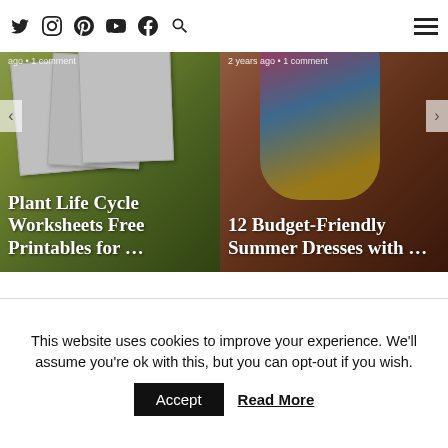Twitter Instagram Pinterest YouTube Facebook Search (nav icons) | Menu (hamburger)
[Figure (photo): Plant Life Cycle Worksheets card thumbnail with green background showing printed worksheets. Meta: ago • 1 comment. Title: Plant Life Cycle Worksheets Free Printables for ...]
[Figure (photo): 12 Budget-Friendly Summer Dresses card thumbnail with warm background showing summer dress. Meta: 2 years ago • 1 comment. Title: 12 Budget-Friendly Summer Dresses with ...]
This website uses cookies to improve your experience. We'll assume you're ok with this, but you can opt-out if you wish.
Accept | Read More